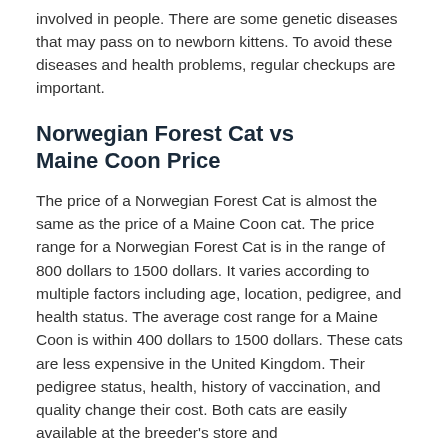involved in people. There are some genetic diseases that may pass on to newborn kittens. To avoid these diseases and health problems, regular checkups are important.
Norwegian Forest Cat vs Maine Coon Price
The price of a Norwegian Forest Cat is almost the same as the price of a Maine Coon cat. The price range for a Norwegian Forest Cat is in the range of 800 dollars to 1500 dollars. It varies according to multiple factors including age, location, pedigree, and health status. The average cost range for a Maine Coon is within 400 dollars to 1500 dollars. These cats are less expensive in the United Kingdom. Their pedigree status, health, history of vaccination, and quality change their cost. Both cats are easily available at the breeder's store and